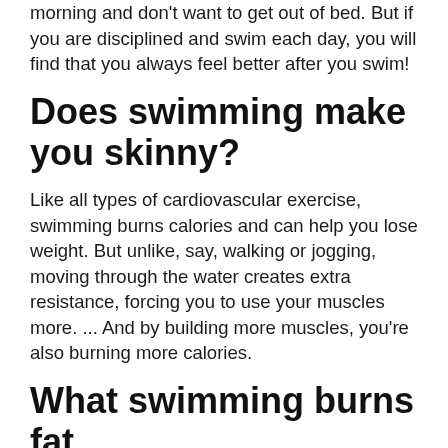morning and don't want to get out of bed. But if you are disciplined and swim each day, you will find that you always feel better after you swim!
Does swimming make you skinny?
Like all types of cardiovascular exercise, swimming burns calories and can help you lose weight. But unlike, say, walking or jogging, moving through the water creates extra resistance, forcing you to use your muscles more. ... And by building more muscles, you're also burning more calories.
What swimming burns fat